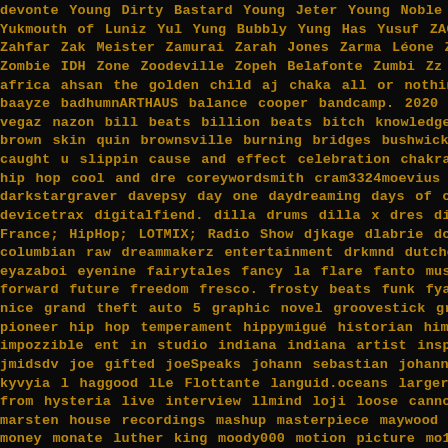devonte Young Dirty Bastard Young Jeter Young Noble Young Phardon Young Yukmouth of Luniz Yul Yung Bubbly Yung Has Yusuf ZACKONLYBEATS ZANAH D Zahfar Zak Meister Zamurai Zarah Jones Zarma Léone Zay The DoeBoy Zaze Zombie IDH Zone Zoodeville Zopeh Belafonte Zumbi Zz The Slept On Zzay Za africa ahsan the golden child aj chaka all or nothing now or never alllone a baayze badhumnARTHAUS balance cooper bandcamp. 2020 bandcmap bar vegaz nazon bill beats billion beats bitch knowledge is power black hill ave brown skin quin brownsville burning bridges bushwick byron davis jr. artist c. caught u slippin cause and effect celebration chakras charley hood chelsea hip hop cool and dre coreywordsmith cram3324moevius culture shock cu darkstargraver davepsy day one daydreaming days of our lives dblock dcl d devicetrax digitalfiend. dilla drums dilla x dres dions cartoons divine time ent France; HipHop; LOTMIX; Radio Show djkage dlabrie docdmusic documenta columbian raw dreammakerz entertainment drkmnd dutchessqony dystopia eyazaboi eyenine fairytales fancy la flare fanto music fantom of beat fast life forward future freedom fresco. frosty beats funk fya g dot & born gators wolve nice grand theft auto 5 graphic novel groovestick groovestick benefits harlen pioneer hip hop temperament hippymigué historian himself hit maker hone impozzible ent in studio indiana indiana artist inspiration rockboy internatio jmidsdv joe gifted joeSpeaks johann sebastian johannesboro john g jonny p j kyvyia l haggood lLe Flottante languid.oceans larger than life latenight latin la from hysteria live interview llmind loji loose cannons los angeles lost in bud marsten house recordings mashup masterpiece maywood ill mc snillow me money monate luther king moody000 motion picture mo17th mc not a3clase